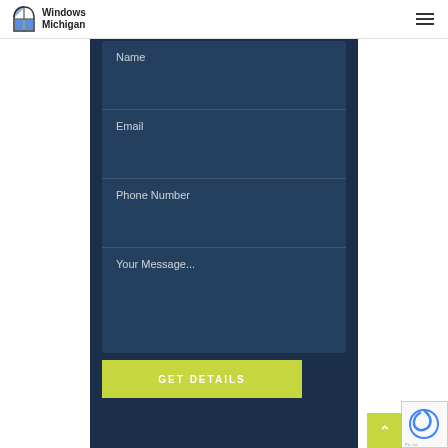Windows Michigan
Name
Email
Phone Number
Your Message...
GET DETAILS